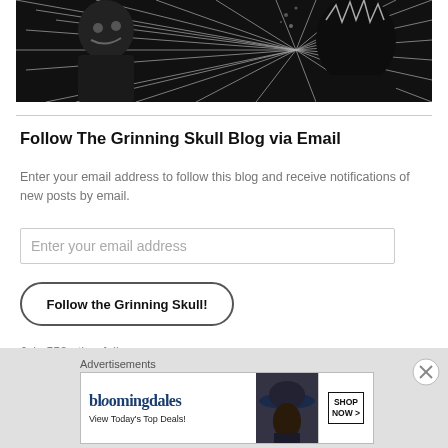[Figure (illustration): Black and white comic/manga style illustration showing two characters with dramatic line art style, dark and high-contrast]
Follow The Grinning Skull Blog via Email
Enter your email address to follow this blog and receive notifications of new posts by email.
Enter your email address
Follow the Grinning Skull!
Join 553 other followers
Advertisements
[Figure (photo): Bloomingdales advertisement banner: 'bloomingdales View Today's Top Deals!' with woman wearing large hat and a 'SHOP NOW >' button]